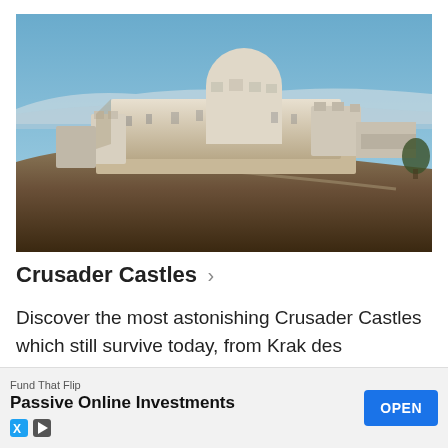[Figure (photo): Aerial/elevated view of Krak des Chevaliers, a large Crusader castle with round towers and thick stone walls, situated on a hilltop with a blue sky and mountains in the background.]
Crusader Castles >
Discover the most astonishing Crusader Castles which still survive today, from Krak des Chevaliers to Kerak and more, includes an interactive map of Crusad...
[Figure (other): Advertisement banner: Fund That Flip — Passive Online Investments — OPEN button]